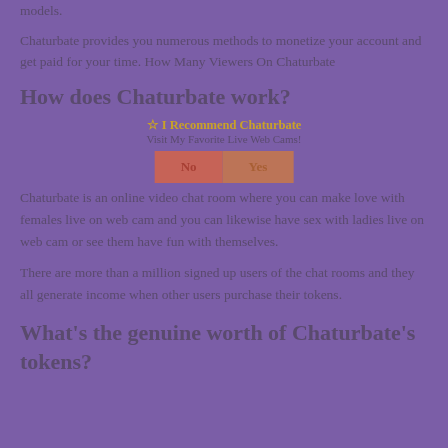models.
Chaturbate provides you numerous methods to monetize your account and get paid for your time. How Many Viewers On Chaturbate
How does Chaturbate work?
[Figure (infographic): Overlay banner with text '☆ I Recommend Chaturbate', 'Visit My Favorite Live Web Cams!' and two buttons labeled 'No' and 'Yes']
Chaturbate is an online video chat room where you can make love with females live on web cam and you can likewise have sex with ladies live on web cam or see them have fun with themselves.
There are more than a million signed up users of the chat rooms and they all generate income when other users purchase their tokens.
What's the genuine worth of Chaturbate's tokens?